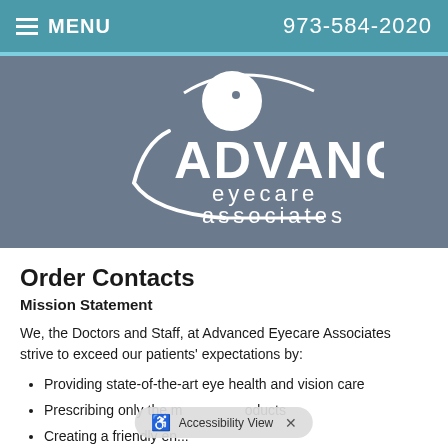MENU   973-584-2020
[Figure (logo): Advanced Eyecare Associates logo — white eye and swish graphic above the text 'ADVANCED eyecare associates' on a grey-blue background]
Order Contacts
Mission Statement
We, the Doctors and Staff, at Advanced Eyecare Associates strive to exceed our patients' expectations by:
Providing state-of-the-art eye health and vision care
Prescribing only the m... oducts
Creating a friendly en...